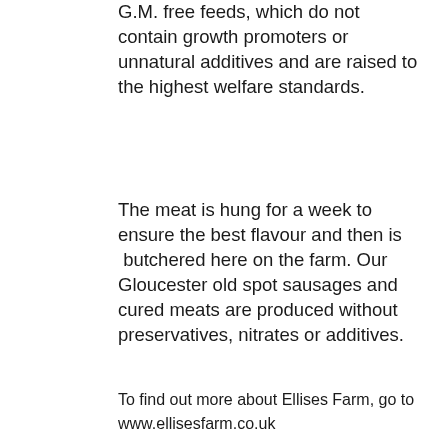G.M. free feeds, which do not contain growth promoters or unnatural additives and are raised to the highest welfare standards.
The meat is hung for a week to ensure the best flavour and then is  butchered here on the farm. Our Gloucester old spot sausages and cured meats are produced without preservatives, nitrates or additives.
To find out more about Ellises Farm, go to
www.ellisesfarm.co.uk
[Figure (logo): Ellises Farm Field logo — white ornate crest design with a pig silhouette and star on black background, text reads ELLISES FARM FIELD]